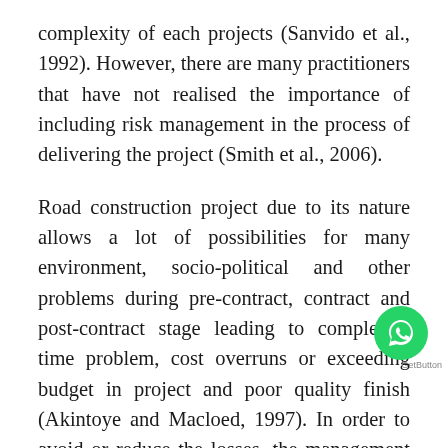complexity of each projects (Sanvido et al., 1992). However, there are many practitioners that have not realised the importance of including risk management in the process of delivering the project (Smith et al., 2006).
Road construction project due to its nature allows a lot of possibilities for many environment, socio-political and other problems during pre-contract, contract and post-contract stage leading to completion time problem, cost overruns or exceeding budget in project and poor quality finish (Akintoye and Macloed, 1997). In order to avoid or reduce the losses, the management of the involved in the construction project is required... should be underlined that risk management is not a